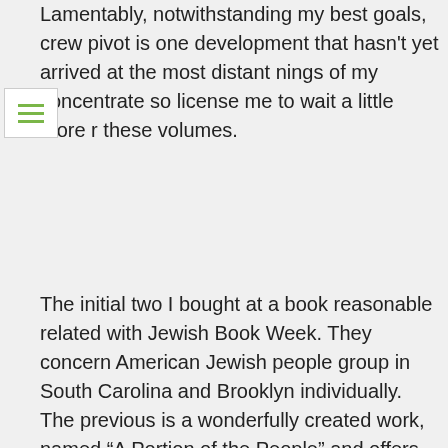Lamentably, notwithstanding my best goals, crew pivot is one development that hasn't yet arrived at the most distant nings of my concentrate so license me to wait a little more r these volumes.
The initial two I bought at a book reasonable related with Jewish Book Week. They concern American Jewish people group in South Carolina and Brooklyn individually. The previous is a wonderfully created work, named “A Portion of the People” and offers an entrancing understanding into the advancement of the Jewish diaspora in and around Charleston. This enchanting and notable city housed, in the principal quarter of the nineteenth century, the most prosperous Jewish people group in America, exceeding that of New York, monetarily, socially and mathematically. Its occupants included, for instance, “the principal Jew chose for public office in the western world, the primary Jewish officer to pass on in the American Revolution